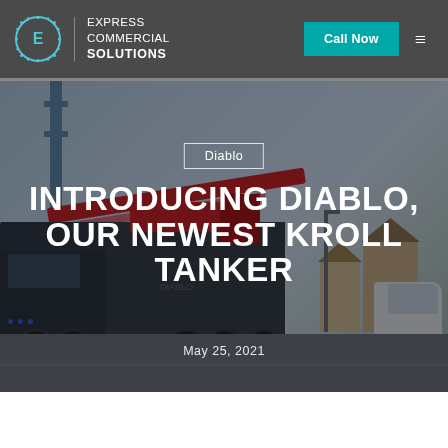Express Commercial Solutions — Call Now
[Figure (photo): Hero image of a large Kroll tanker truck with a red boom/crane arm, photographed on a street with a white van and houses in the background. Overlaid with text. Dark overlay applied.]
Diablo
INTRODUCING DIABLO, OUR NEWEST KROLL TANKER
May 25, 2021